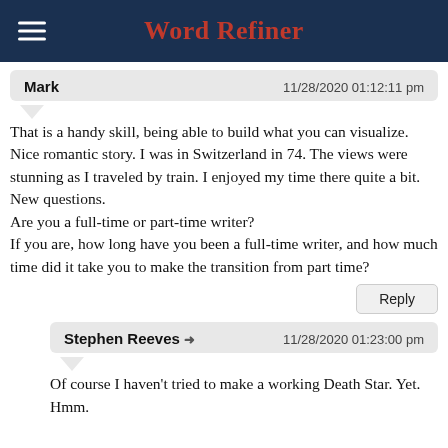Word Refiner
Mark  11/28/2020 01:12:11 pm
That is a handy skill, being able to build what you can visualize.
Nice romantic story. I was in Switzerland in 74. The views were stunning as I traveled by train. I enjoyed my time there quite a bit.
New questions.
Are you a full-time or part-time writer?
If you are, how long have you been a full-time writer, and how much time did it take you to make the transition from part time?
Reply
Stephen Reeves  11/28/2020 01:23:00 pm
Of course I haven't tried to make a working Death Star. Yet. Hmm.